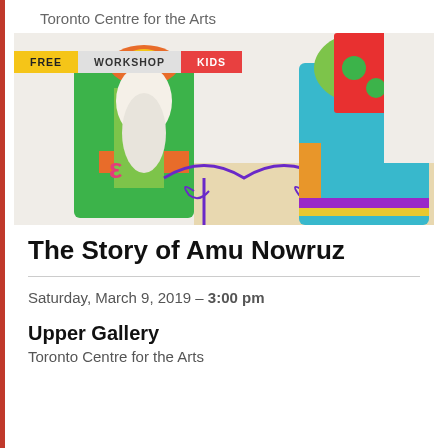Toronto Centre for the Arts
[Figure (photo): Photo of colorful paper puppet figures dressed in traditional Persian clothing, with tags overlaid: FREE (yellow), WORKSHOP (gray), KIDS (red)]
The Story of Amu Nowruz
Saturday, March 9, 2019 – 3:00 pm
Upper Gallery
Toronto Centre for the Arts